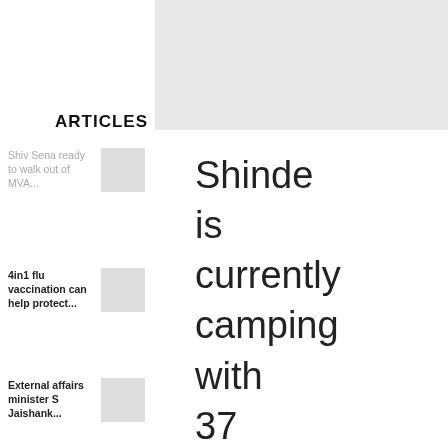ARTICLES
Shiv Sena ready to walk out of MVA...
4in1 flu vaccination can help protect...
External affairs minister S Jaishank...
Shinde is currently camping with 37 rebel MLAs of the Sena